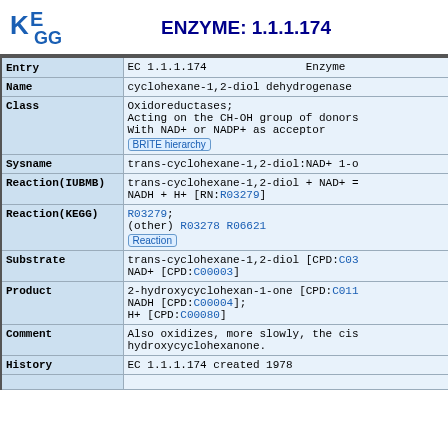[Figure (logo): KEGG logo - stylized letters KE with subscript GG in blue]
ENZYME: 1.1.1.174
| Field | Value |
| --- | --- |
| Entry | EC 1.1.1.174   Enzyme |
| Name | cyclohexane-1,2-diol dehydrogenase |
| Class | Oxidoreductases;
Acting on the CH-OH group of donors
With NAD+ or NADP+ as acceptor
[BRITE hierarchy] |
| Sysname | trans-cyclohexane-1,2-diol:NAD+ 1-o... |
| Reaction(IUBMB) | trans-cyclohexane-1,2-diol + NAD+ =
NADH + H+ [RN:R03279] |
| Reaction(KEGG) | R03279;
(other) R03278 R06621
[Reaction] |
| Substrate | trans-cyclohexane-1,2-diol [CPD:C03...]
NAD+ [CPD:C00003] |
| Product | 2-hydroxycyclohexan-1-one [CPD:C011...]
NADH [CPD:C00004];
H+ [CPD:C00080] |
| Comment | Also oxidizes, more slowly, the cis
hydroxycyclohexanone. |
| History | EC 1.1.1.174 created 1978 |